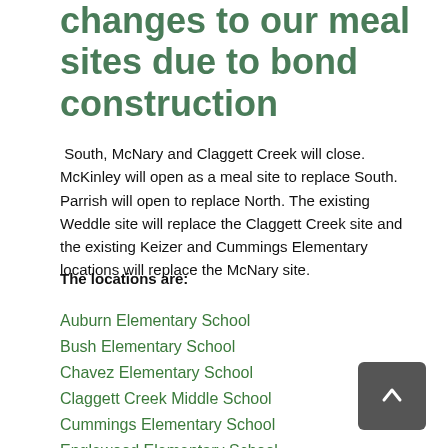changes to our meal sites due to bond construction
South, McNary and Claggett Creek will close. McKinley will open as a meal site to replace South. Parrish will open to replace North. The existing Weddle site will replace the Claggett Creek site and the existing Keizer and Cummings Elementary locations will replace the McNary site.
The locations are:
Auburn Elementary School
Bush Elementary School
Chavez Elementary School
Claggett Creek Middle School
Cummings Elementary School
Englewood Elementary School
Eyre Elementary School